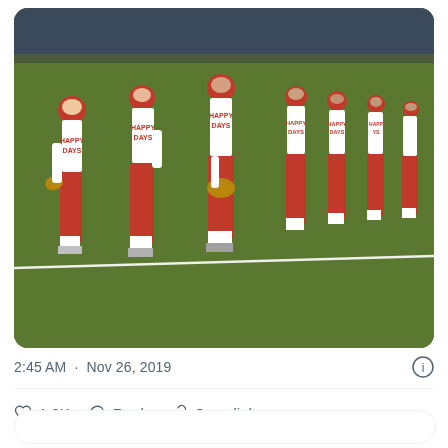[Figure (photo): A group of people in red and white baseball uniforms that read 'HAPPY DAYS' standing in a line on a baseball field. They are wearing red baseball helmets and holding baseball gloves. The photo appears to be from the late 1970s or early 1980s.]
2:45 AM · Nov 26, 2019
1.3K   Reply   Copy link